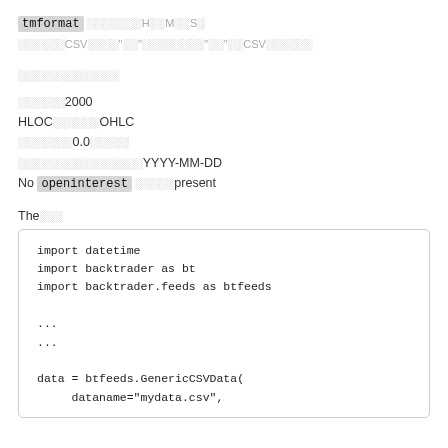tmformat ░░░░░░░H░░M░░S░
░░░░░░CSV░░░░"░░"░░░░░░░░"░░"░░CSV░░░░░░
░░░░░░░░░░░░░
░░░░░░2000
HLOC░░░░░░OHLC
░░░░░░░0.0░░░░░
░░░░░░░░░░░░░░░░YYYY-MM-DD
No openinterest ░░░░░present
The░░░
[Figure (screenshot): Code block showing Python imports and GenericCSVData usage: import datetime, import backtrader as bt, import backtrader.feeds as btfeeds, ..., ..., data = btfeeds.GenericCSVData(dataname="mydata.csv",]